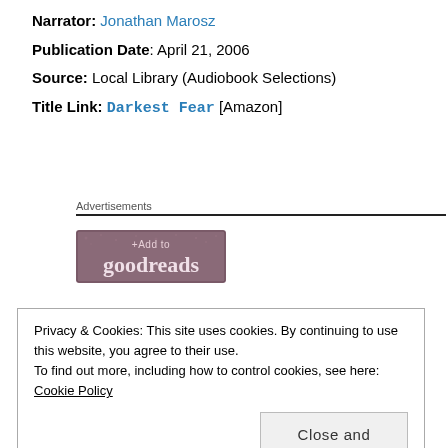Narrator: Jonathan Marosz
Publication Date: April 21, 2006
Source: Local Library (Audiobook Selections)
Title Link: Darkest Fear [Amazon]
Advertisements
[Figure (logo): Goodreads '+Add to goodreads' button banner]
Privacy & Cookies: This site uses cookies. By continuing to use this website, you agree to their use.
To find out more, including how to control cookies, see here: Cookie Policy
Close and accept